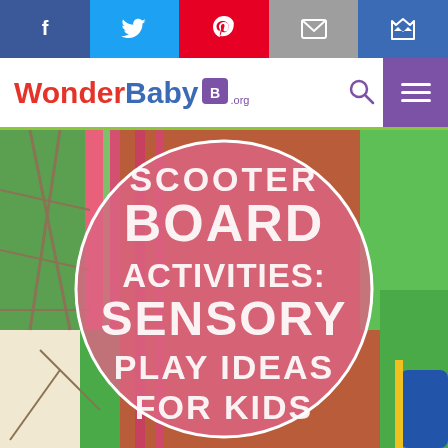[Figure (other): Social media share bar with Facebook, Twitter, Pinterest, Email, and Bookmark buttons]
[Figure (logo): WonderBaby.org logo with search icon and purple hamburger menu button]
[Figure (photo): Hero image of colorful playground equipment with a circular overlay containing text: SCOOTER BOARD ACTIVITIES: SENSORY PLAY IDEAS FOR KIDS]